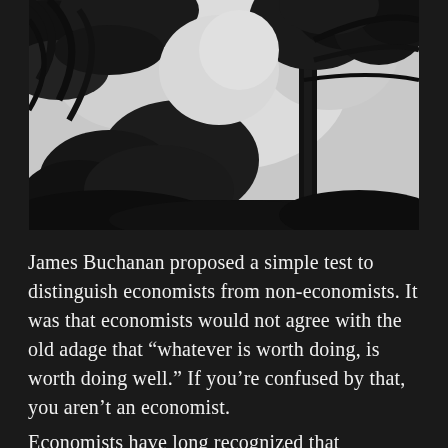[Figure (photo): Black and white photograph taken from below looking up at tropical palm trees and other trees against a bright overcast sky. The silhouettes of branches and leaves are dark against the light background.]
James Buchanan proposed a simple test to distinguish economists from non-economists. It was that economists would not agree with the old adage that “whatever is worth doing, is worth doing well.” If you’re confused by that, you aren’t an economist.
Economists have long recognized that...